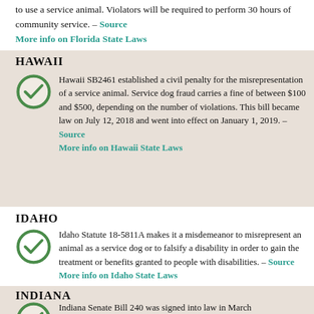to use a service animal. Violators will be required to perform 30 hours of community service. – Source
More info on Florida State Laws
HAWAII
Hawaii SB2461 established a civil penalty for the misrepresentation of a service animal. Service dog fraud carries a fine of between $100 and $500, depending on the number of violations. This bill became law on July 12, 2018 and went into effect on January 1, 2019. – Source
More info on Hawaii State Laws
IDAHO
Idaho Statute 18-5811A makes it a misdemeanor to misrepresent an animal as a service dog or to falsify a disability in order to gain the treatment or benefits granted to people with disabilities. – Source
More info on Idaho State Laws
INDIANA
Indiana Senate Bill 240 was signed into law in March